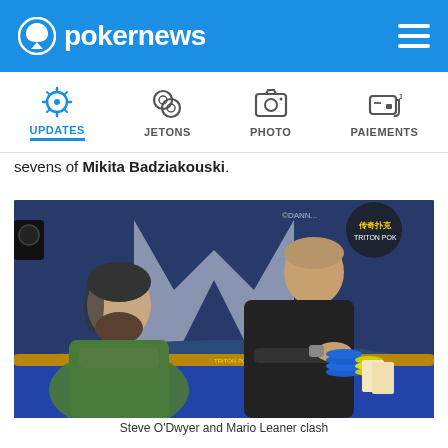pokernews
UPDATES
JETONS
PHOTO
PAIEMENTS
sevens of Mikita Badziakouski.
[Figure (photo): Two men sitting at a poker table at Triton Poker event. Man on the left has long hair and beard, wearing green hoodie with arms crossed. Man on the right is taller with short hair, wearing dark shirt, leaning on table with poker chips in front of him. Triton Poker branding visible in background.]
Steve O'Dwyer and Mario Leaner clash